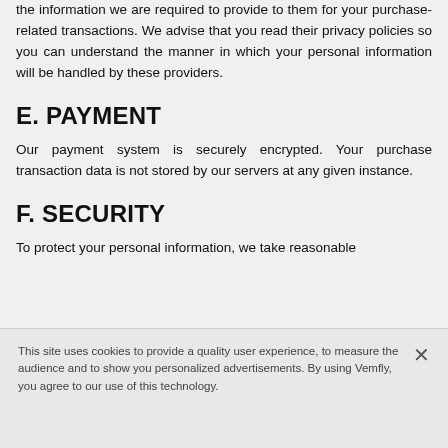the information we are required to provide to them for your purchase-related transactions. We advise that you read their privacy policies so you can understand the manner in which your personal information will be handled by these providers.
E. PAYMENT
Our payment system is securely encrypted. Your purchase transaction data is not stored by our servers at any given instance.
F. SECURITY
To protect your personal information, we take reasonable
This site uses cookies to provide a quality user experience, to measure the audience and to show you personalized advertisements. By using Vemfly, you agree to our use of this technology.